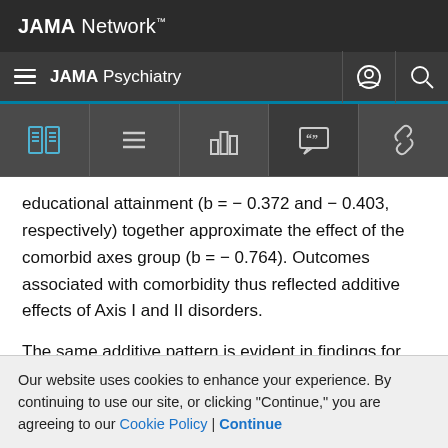JAMA Network
JAMA Psychiatry
educational attainment (b = − 0.372 and − 0.403, respectively) together approximate the effect of the comorbid axes group (b = − 0.764). Outcomes associated with comorbidity thus reflected additive effects of Axis I and II disorders.
The same additive pattern is evident in findings for standardized mean differences in health status and GAF scores in Table 2. When unstandardized GAF scores (which
Our website uses cookies to enhance your experience. By continuing to use our site, or clicking "Continue," you are agreeing to our Cookie Policy | Continue